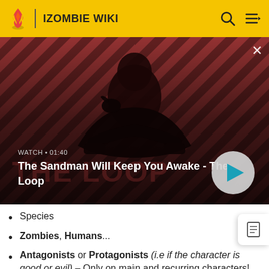IZOMBIE WIKI
[Figure (screenshot): Video thumbnail for 'The Sandman Will Keep You Awake - The Loop' showing a dark-cloaked figure with a raven on their shoulder against a red diagonal-striped background. Shows WATCH • 01:40 label and a play button.]
Species
Zombies, Humans...
Antagonists or Protagonists (i.e if the character is good or evil) – Only on main and recurring characters!
Deceased, if the character is deceased.